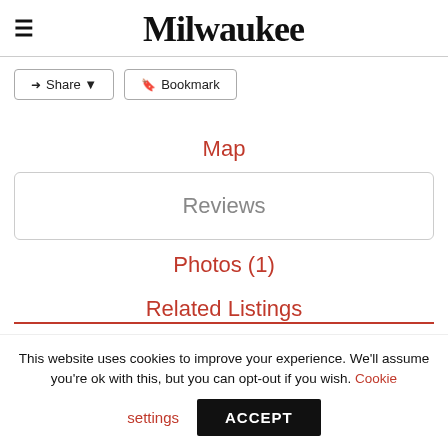Milwaukee
Share  Bookmark
Map
Reviews
Photos (1)
Related Listings
This website uses cookies to improve your experience. We'll assume you're ok with this, but you can opt-out if you wish. Cookie settings ACCEPT